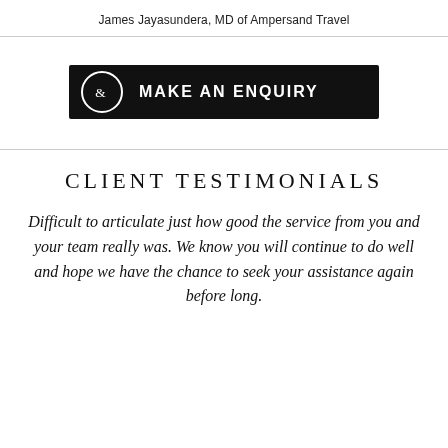James Jayasundera, MD of Ampersand Travel
[Figure (other): Black button with ampersand icon and text MAKE AN ENQUIRY]
CLIENT TESTIMONIALS
Difficult to articulate just how good the service from you and your team really was. We know you will continue to do well and hope we have the chance to seek your assistance again before long.